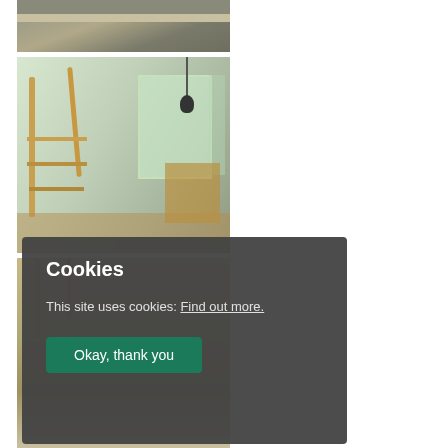[Figure (photo): Interior photo showing a dining area with a dark/grey table surface, viewed from above]
[Figure (photo): Interior photo of a modern home showing a staircase with wooden oak railings, glass balustrades, and a view through large windows to a garden. A dining table is visible in the background.]
[Figure (photo): Partial interior photo showing wooden staircase railings and flooring, cropped at bottom of page]
Cookies

This site uses cookies: Find out more.

Okay, thank you